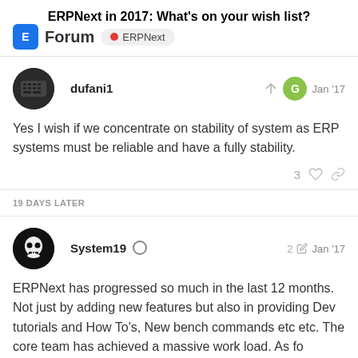ERPNext in 2017: What's on your wish list?
dufani1 Jan '17
Yes I wish if we concentrate on stability of system as ERP systems must be reliable and have a fully stability.
3 likes
19 DAYS LATER
System19 2 Jan '17
ERPNext has progressed so much in the last 12 months. Not just by adding new features but also in providing Dev tutorials and How To's, New bench commands etc etc. The core team has achieved a massive work load. As fo…
1: Halt adding any new (non sponsored) f…
17 / 38